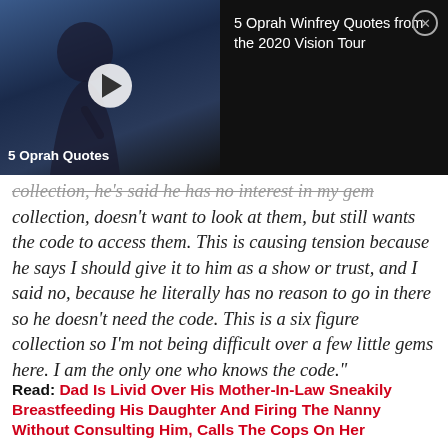[Figure (screenshot): Video thumbnail showing Oprah Winfrey on stage with play button overlay and label '5 Oprah Quotes', with title '5 Oprah Winfrey Quotes from the 2020 Vision Tour' and close button]
collection, he's said he has no interest in my gem collection, doesn't want to look at them, but still wants the code to access them. This is causing tension because he says I should give it to him as a show or trust, and I said no, because he literally has no reason to go in there so he doesn't need the code. This is a six figure collection so I'm not being difficult over a few little gems here. I am the only one who knows the code."
Read: Dad Is Livid Over His Mother-In-Law Sneakily Breastfeeding His Daughter And Firing The Nanny Without Consulting Him, Calls The Cops On Her